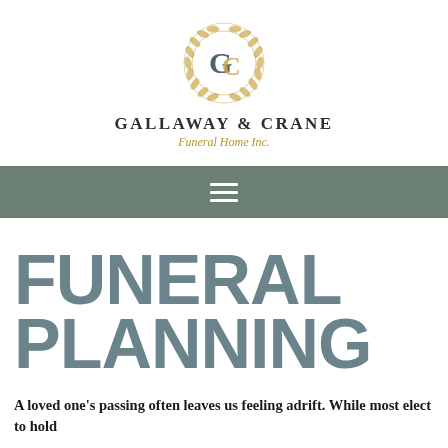[Figure (logo): Gallaway & Crane Funeral Home Inc. logo — circular laurel wreath with overlapping G and C letters in gold and dark teal, company name and subtitle below]
[Figure (other): Navigation bar with hamburger menu icon (three white horizontal lines) on dark sage green background]
FUNERAL PLANNING
A loved one's passing often leaves us feeling adrift. While most elect to hold arrangements for a service in the days with